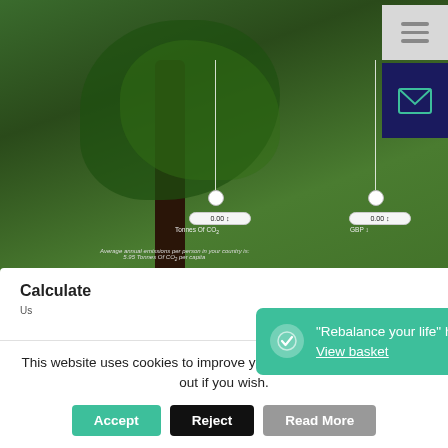[Figure (screenshot): Screenshot of a carbon calculator web page showing a forest background image with slider controls (0.00 Tonnes of CO2, 0.00 GBP), a Carbon Emissions panel showing 0.00 Tonnes of CO2 = 0 trees protected (approx.), with Cost 0.00 GBP and Basket total: 0.00 Tonnes Of CO2, Add to cart and Check Out buttons, navigation icons on the right, text about verified emissions reduction projects. Below the screenshot a calculate section with title 'Calculate...' and text 'Businesses ca... understand carbon impacts and target ways to reduce or avoid emissions.' A teal toast notification reads: '"Rebalance your life" has been added to your basket. View basket' with a close X.]
Businesses ca... understand carbon impacts and target ways to reduce or avoid emissions.
This website uses cookies to improve your experience, you can opt-out if you wish.